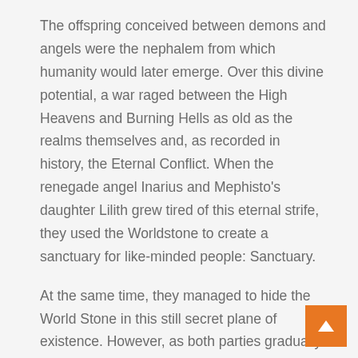The offspring conceived between demons and angels were the nephalem from which humanity would later emerge. Over this divine potential, a war raged between the High Heavens and Burning Hells as old as the realms themselves and, as recorded in history, the Eternal Conflict. When the renegade angel Inarius and Mephisto's daughter Lilith grew tired of this eternal strife, they used the Worldstone to create a sanctuary for like-minded people: Sanctuary.
At the same time, they managed to hide the World Stone in this still secret plane of existence. However, as both parties gradually found out about her, the conflict increasingly shifted here – much to the chagrin of mortals. The story of the World Stone finally culminated in the events of the second part,